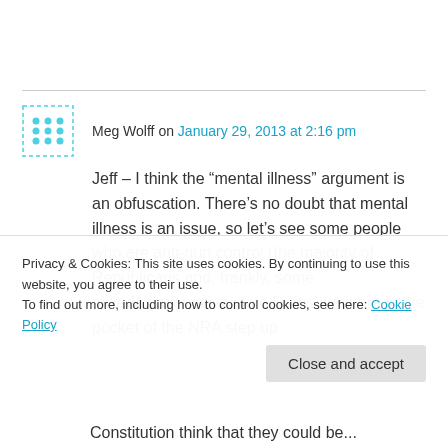Meg Wolff on January 29, 2013 at 2:16 pm
Jeff – I think the “mental illness” argument is an obfuscation. There’s no doubt that mental illness is an issue, so let’s see some people who are anti-gun control (the majority of Republicans and, frankly, some mixed/conservative state Dems) who are in the pocket of the NRA step up
Privacy & Cookies: This site uses cookies. By continuing to use this website, you agree to their use.
To find out more, including how to control cookies, see here: Cookie Policy
Close and accept
Constitution think that they could be...